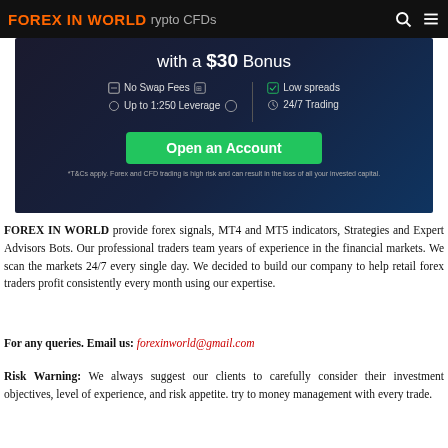FOREX IN WORLD  crypto CFDs
[Figure (screenshot): Advertisement banner for a forex/CFD broker: 'with a $30 Bonus', features: No Swap Fees, Low spreads, Up to 1:250 Leverage, 24/7 Trading. Green 'Open an Account' button. Disclaimer: T&Cs apply. Forex and CFD trading is high risk and can result in the loss of all your invested capital.]
FOREX IN WORLD provide forex signals, MT4 and MT5 indicators, Strategies and Expert Advisors Bots. Our professional traders team years of experience in the financial markets. We scan the markets 24/7 every single day. We decided to build our company to help retail forex traders profit consistently every month using our expertise.
For any queries. Email us: forexinworld@gmail.com
Risk Warning: We always suggest our clients to carefully consider their investment objectives, level of experience, and risk appetite. try to money management with every trade.